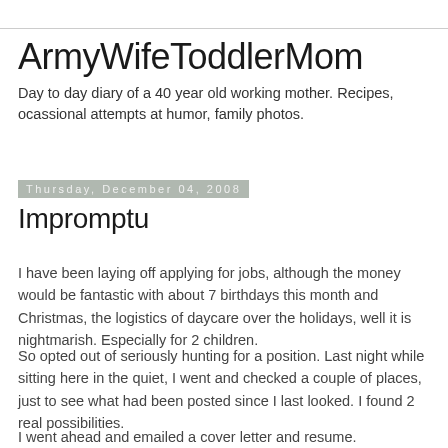ArmyWifeToddlerMom
Day to day diary of a 40 year old working mother. Recipes, ocassional attempts at humor, family photos.
Thursday, December 04, 2008
Impromptu
I have been laying off applying for jobs, although the money would be fantastic with about 7 birthdays this month and Christmas, the logistics of daycare over the holidays, well it is nightmarish. Especially for 2 children.
So opted out of seriously hunting for a position. Last night while sitting here in the quiet, I went and checked a couple of places, just to see what had been posted since I last looked. I found 2 real possibilities.
I went ahead and emailed a cover letter and resume.